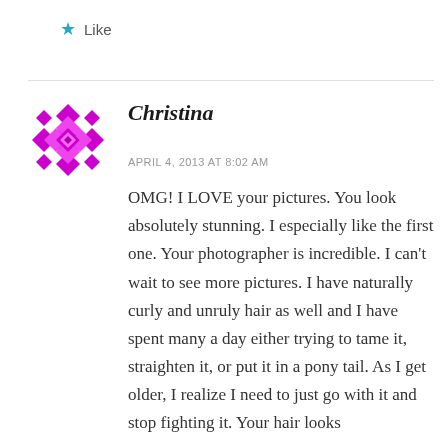★ Like
[Figure (illustration): Purple geometric snowflake/diamond pattern avatar icon for user Christina]
Christina
APRIL 4, 2013 AT 8:02 AM
OMG! I LOVE your pictures. You look absolutely stunning. I especially like the first one. Your photographer is incredible. I can't wait to see more pictures. I have naturally curly and unruly hair as well and I have spent many a day either trying to tame it, straighten it, or put it in a pony tail. As I get older, I realize I need to just go with it and stop fighting it. Your hair looks